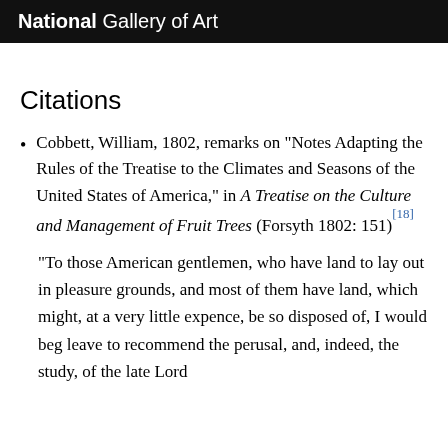National Gallery of Art
Citations
Cobbett, William, 1802, remarks on "Notes Adapting the Rules of the Treatise to the Climates and Seasons of the United States of America," in A Treatise on the Culture and Management of Fruit Trees (Forsyth 1802: 151)[18]
"To those American gentlemen, who have land to lay out in pleasure grounds, and most of them have land, which might, at a very little expence, be so disposed of, I would beg leave to recommend the perusal, and, indeed, the study, of the late Lord